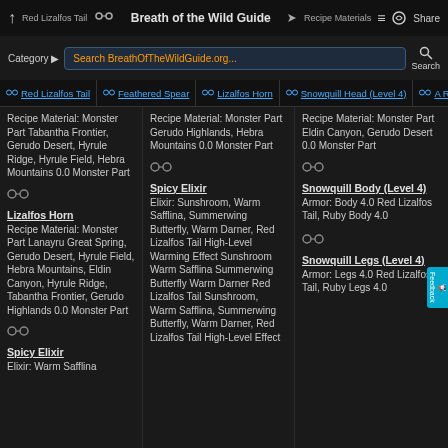Red Lizalfos Tail | Breath of the Wild Guide | Recipe Materials | Share
Search BreathOfTheWildGuide.org...
Red Lizalfos Tail | Feathered Spear | Lizalfos Horn | Snowquill Head (Level 4) | A Royal R
Recipe Material: Monster Part Tabantha Frontier, Gerudo Desert, Hyrule Ridge, Hyrule Field, Hebra Mountains 0.0 Monster Part
Recipe Material: Monster Part Gerudo Highlands, Hebra Mountains 0.0 Monster Part
Recipe Material: Monster Part Eldin Canyon, Gerudo Desert 0.0 Monster Part
Lizalfos Horn
Recipe Material: Monster Part Lanayru Great Spring, Gerudo Desert, Hyrule Field, Hebra Mountains, Eldin Canyon, Hyrule Ridge, Tabantha Frontier, Gerudo Highlands 0.0 Monster Part
Spicy Elixir
Elixir: Sunshroom, Warm Safflina, Summerwing Butterfly, Warm Darner, Red Lizalfos Tail High-Level Warming Effect
Sunshroom Warm Safflina Summerwing Butterfly Warm Darner Red Lizalfos Tail
Sunshroom, Warm Safflina, Summerwing Butterfly, Warm Darner, Red Lizalfos Tail High-Level Effect
Snowquill Body (Level 4)
Armor: Body 4.0 Red Lizalfos Tail, Ruby Body 4.0
Snowquill Legs (Level 4)
Armor: Legs 4.0 Red Lizalfos Tail, Ruby Legs 4.0
Spicy Elixir
Elixir: Warm Safflina